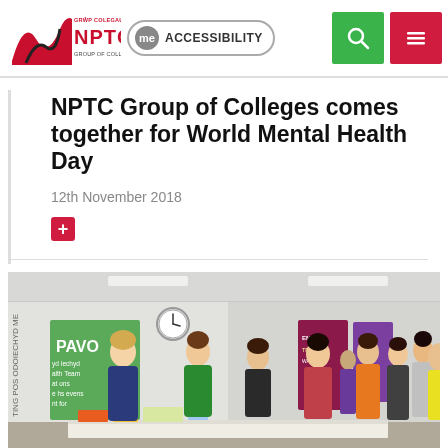NPTC Group of Colleges — GRŴP COLEGAU — me ACCESSIBILITY
NPTC Group of Colleges comes together for World Mental Health Day
12th November 2018
[Figure (photo): Event photo showing students and staff at stands/tables indoors for World Mental Health Day, with a PAVO sign visible]